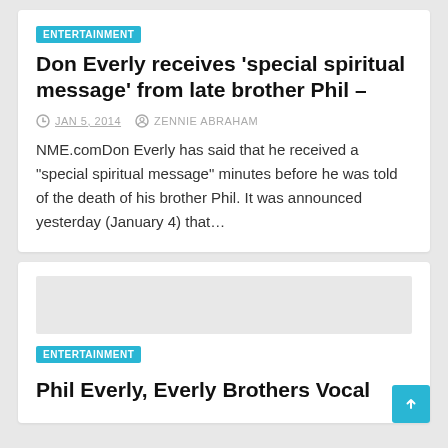ENTERTAINMENT
Don Everly receives ‘special spiritual message’ from late brother Phil –
JAN 5, 2014   ZENNIE ABRAHAM
NME.comDon Everly has said that he received a “special spiritual message” minutes before he was told of the death of his brother Phil. It was announced yesterday (January 4) that…
ENTERTAINMENT
Phil Everly, Everly Brothers Vocal